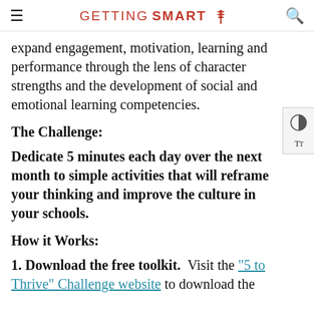GETTING SMART
expand engagement, motivation, learning and performance through the lens of character strengths and the development of social and emotional learning competencies.
The Challenge:
Dedicate 5 minutes each day over the next month to simple activities that will reframe your thinking and improve the culture in your schools.
How it Works:
1. Download the free toolkit.  Visit the “5 to Thrive” Challenge website to download the